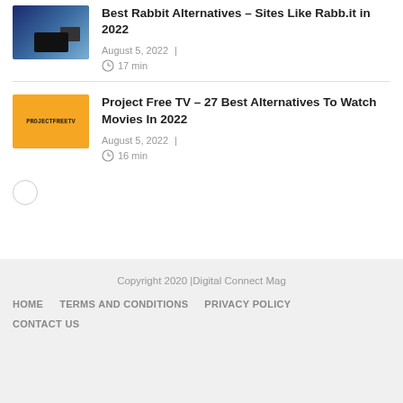[Figure (photo): Thumbnail of a TV with a remote control, dark background with blue tones]
Best Rabbit Alternatives – Sites Like Rabb.it in 2022
August 5, 2022 | 17 min
[Figure (photo): Thumbnail with orange/yellow background showing the Project Free TV logo]
Project Free TV – 27 Best Alternatives To Watch Movies In 2022
August 5, 2022 | 16 min
Copyright 2020 |Digital Connect Mag
HOME   TERMS AND CONDITIONS   PRIVACY POLICY
CONTACT US